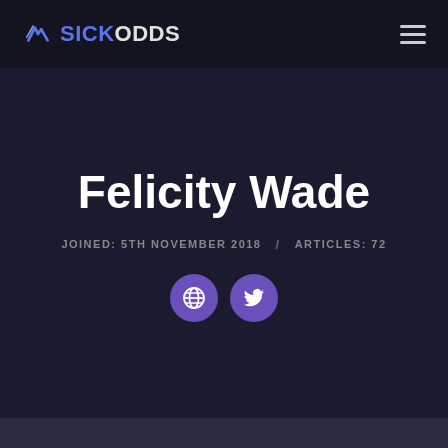SICKODDS
Felicity Wade
JOINED: 5TH NOVEMBER 2018 / ARTICLES: 72
[Figure (other): Two purple circular social media icon buttons: a globe icon and a Twitter bird icon]